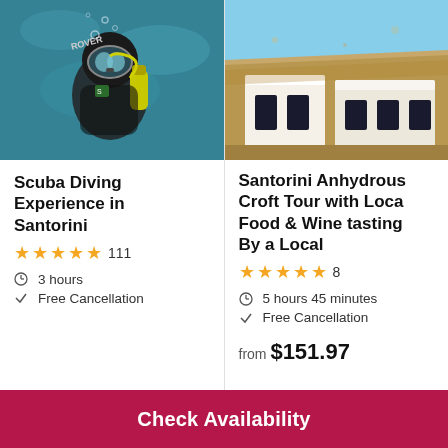[Figure (photo): Scuba diver underwater wearing ROVER gear and diving mask, teal/blue water background]
Scuba Diving Experience in Santorini
★★★★★ 111
3 hours
Free Cancellation
[Figure (photo): White cave house/building built into sandy cliff in Santorini, with dark doorways, blue sky]
Santorini Anhydrous Croft Tour with Local Food & Wine tasting By a Local
★★★★★ 8
5 hours 45 minutes
Free Cancellation
from $151.97
Check Availability